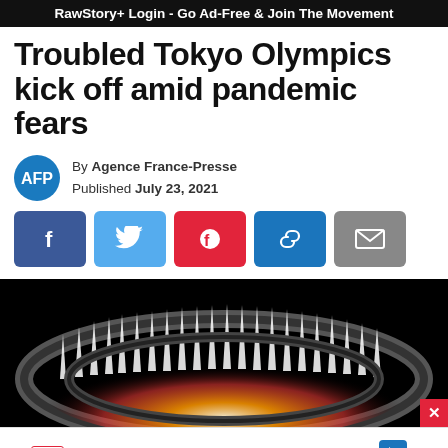RawStory+ Login - Go Ad-Free & Join The Movement
Troubled Tokyo Olympics kick off amid pandemic fears
By Agence France-Presse
Published July 23, 2021
[Figure (screenshot): Social media share buttons: Facebook, Twitter, Flipboard, copy link, email]
[Figure (photo): Olympic cauldron with fireworks/flame ring at a dark stadium during the Tokyo Olympics opening ceremony]
Dine-in  Curbside pickup